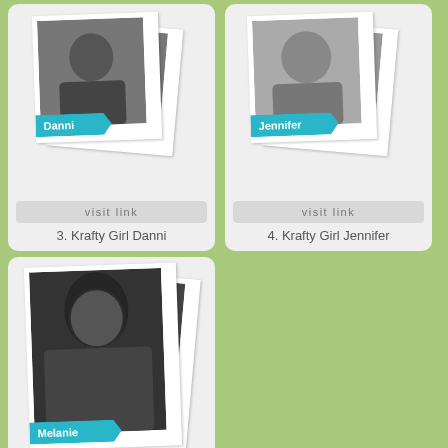[Figure (photo): Profile photo card of Danni with polaroid-style frame and cyan name tag]
visit link
3. Krafty Girl Danni
[Figure (photo): Profile photo card of Jennifer with polaroid-style frame and cyan name tag]
visit link
4. Krafty Girl Jennifer
[Figure (photo): Profile photo card of Melanie with polaroid-style frame and cyan name tag]
visit link
5. Krafty Girl Melanie